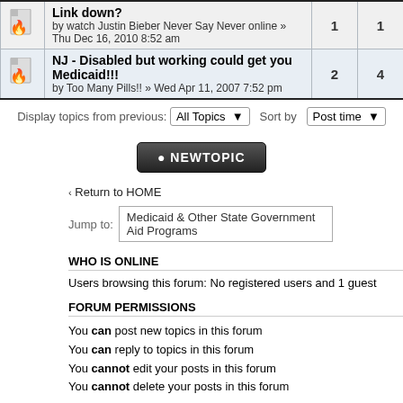|  | Topic | Replies | Views |
| --- | --- | --- | --- |
| 🔥 | Link down?
by watch Justin Bieber Never Say Never online » Thu Dec 16, 2010 8:52 am | 1 | 1 |
| 🔥 | NJ - Disabled but working could get you Medicaid!!!
by Too Many Pills!! » Wed Apr 11, 2007 7:52 pm | 2 | 4 |
Display topics from previous: All Topics ▾  Sort by Post time ▾
[Figure (screenshot): NEWTOPIC button]
‹ Return to HOME
Jump to: Medicaid & Other State Government Aid Programs
WHO IS ONLINE
Users browsing this forum: No registered users and 1 guest
FORUM PERMISSIONS
You can post new topics in this forum
You can reply to topics in this forum
You cannot edit your posts in this forum
You cannot delete your posts in this forum
HOME   The team • Delete all board cookies •
PLEASE READ: All information on this web site was pr guests who have freely given their ideas. Do not blindly f Before using ANY information, ideas, or methods of su